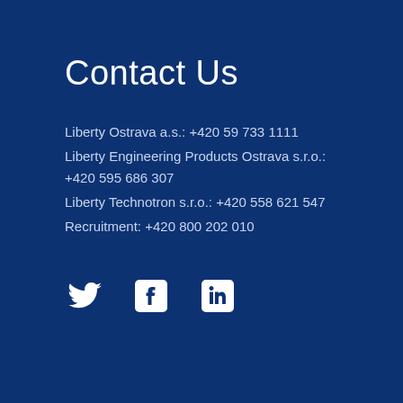Contact Us
Liberty Ostrava a.s.: +420 59 733 1111
Liberty Engineering Products Ostrava s.r.o.: +420 595 686 307
Liberty Technotron s.r.o.: +420 558 621 547
Recruitment: +420 800 202 010
[Figure (illustration): Social media icons: Twitter bird, Facebook F in rounded square, LinkedIn 'in' in rounded square]